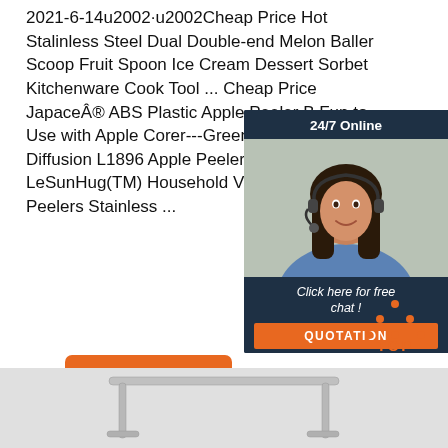2021-6-14u2002·u2002Cheap Price Hot Stalinless Steel Dual Double-end Melon Baller Scoop Fruit Spoon Ice Cream Dessert Sorbet Kitchenware Cook Tool ... Cheap Price JapaceÂ® ABS Plastic Apple Peeler B Fun to Use with Apple Corer---Green. Price Jd Diffusion L1896 Apple Peeler Cheap Price LeSunHug(TM) Household Vegetable Fruits Peelers Stainless ...
[Figure (photo): Customer service representative - woman with headset, shown in dark blue chat widget with '24/7 Online' header, 'Click here for free chat!' text, and orange QUOTATION button]
Get Price
[Figure (illustration): Orange TOP button with orange dotted triangle/arrow pointing up above it]
[Figure (photo): Product image strip at bottom showing metallic kitchen tool (appears to be a wire rack or cooling rack, stainless steel) on gray background]